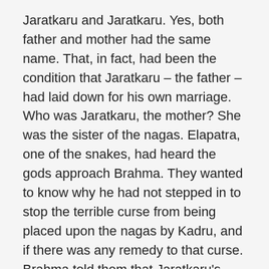Jaratkaru and Jaratkaru. Yes, both father and mother had the same name. That, in fact, had been the condition that Jaratkaru – the father – had laid down for his own marriage. Who was Jaratkaru, the mother? She was the sister of the nagas. Elapatra, one of the snakes, had heard the gods approach Brahma. They wanted to know why he had not stepped in to stop the terrible curse from being placed upon the nagas by Kadru, and if there was any remedy to that curse. Brahma told them that Jaratkaru's son, Astika, would save the snakes from Janamejaya's sacrifice.
Upon being asked who would be Jaratkaru's wife, Brahma responded by saying that it would be one with the same name as Jaratkaru. You can imagine